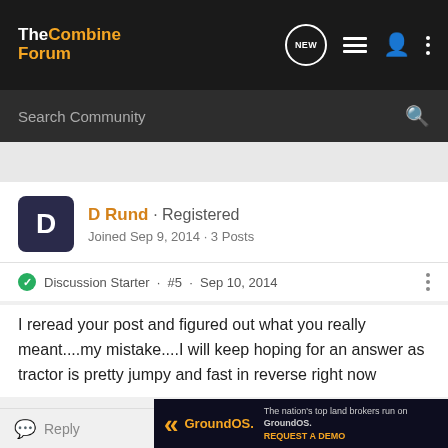The Combine Forum
Search Community
D Rund · Registered
Joined Sep 9, 2014 · 3 Posts
Discussion Starter · #5 · Sep 10, 2014
I reread your post and figured out what you really meant....my mistake....I will keep hoping for an answer as tractor is pretty jumpy and fast in reverse right now
[Figure (screenshot): GroundOS advertisement banner: 'The nation's top land brokers run on GroundOS. REQUEST A DEMO']
Reply